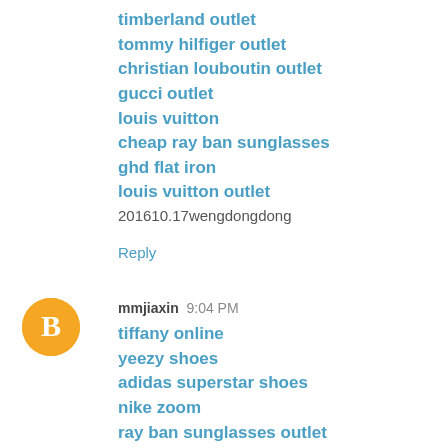timberland outlet
tommy hilfiger outlet
christian louboutin outlet
gucci outlet
louis vuitton
cheap ray ban sunglasses
ghd flat iron
louis vuitton outlet
201610.17wengdongdong
Reply
mmjiaxin  9:04 PM
tiffany online
yeezy shoes
adidas superstar shoes
nike zoom
ray ban sunglasses outlet
air jordan shoes
air jordan retro
kobe shoes